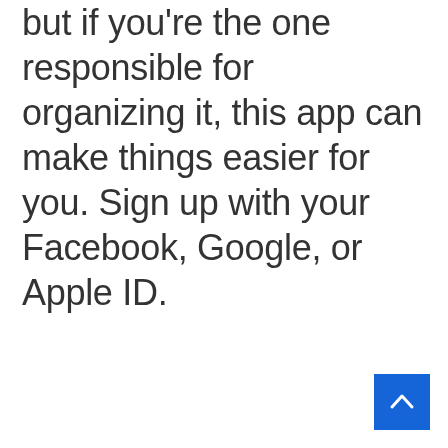but if you're the one responsible for organizing it, this app can make things easier for you. Sign up with your Facebook, Google, or Apple ID.
[Figure (other): Blue square scroll-to-top button with a white upward chevron arrow, positioned at the bottom-right corner of the page.]